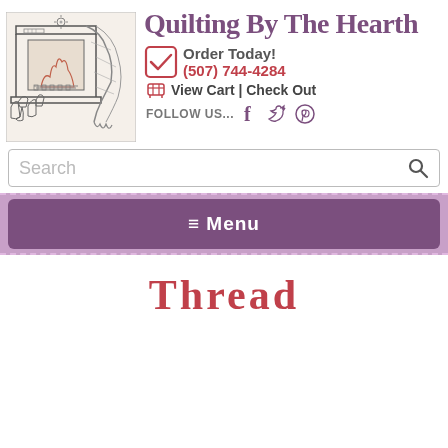[Figure (illustration): Pen-and-ink style drawing of a fireplace with a quilt draped over it and boots/shoes nearby]
Quilting By The Hearth
Order Today!
(507) 744-4284
View Cart | Check Out
FOLLOW US...
Search
≡ Menu
Thread